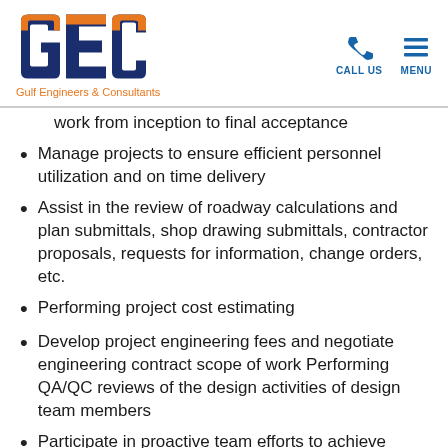GEC Gulf Engineers & Consultants | CALL US | MENU
work from inception to final acceptance
Manage projects to ensure efficient personnel utilization and on time delivery
Assist in the review of roadway calculations and plan submittals, shop drawing submittals, contractor proposals, requests for information, change orders, etc.
Performing project cost estimating
Develop project engineering fees and negotiate engineering contract scope of work Performing QA/QC reviews of the design activities of design team members
Participate in proactive team efforts to achieve departmental and company goals